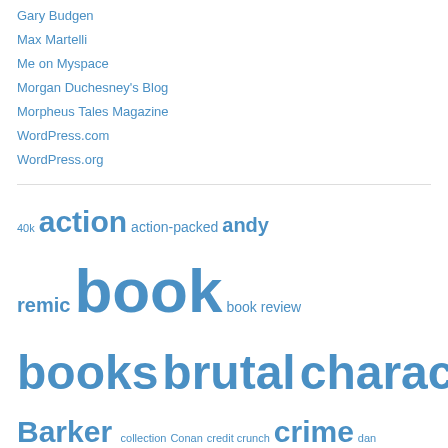Gary Budgen
Max Martelli
Me on Myspace
Morgan Duchesney's Blog
Morpheus Tales Magazine
WordPress.com
WordPress.org
40k action action-packed andy remic book book review books brutal characters Clive Barker collection Conan credit crunch crime dan abnett death download emporer entertaining entertainment epic excitement exciting fantasy fiction Fighting film